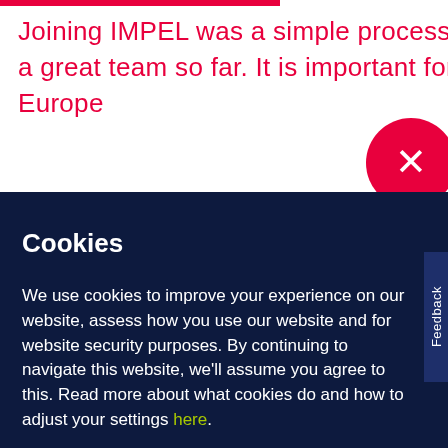Joining IMPEL was a simple process and we've received support from a great team so far. It is important for us to work across the whole of Europe
[Figure (other): Red circular close button with white X symbol]
Cookies
We use cookies to improve your experience on our website, assess how you use our website and for website security purposes. By continuing to navigate this website, we'll assume you agree to this. Read more about what cookies do and how to adjust your settings here.